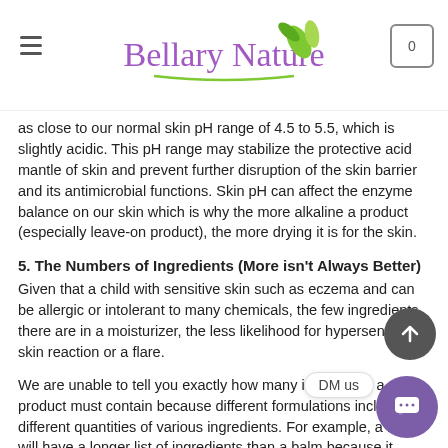Bellary Nature
as close to our normal skin pH range of 4.5 to 5.5, which is slightly acidic. This pH range may stabilize the protective acid mantle of skin and prevent further disruption of the skin barrier and its antimicrobial functions. Skin pH can affect the enzyme balance on our skin which is why the more alkaline a product (especially leave-on product), the more drying it is for the skin.
5. The Numbers of Ingredients (More isn't Always Better)
Given that a child with sensitive skin such as eczema and can be allergic or intolerant to many chemicals, the few ingredients there are in a moisturizer, the less likelihood for hypersensitive skin reaction or a flare.
We are unable to tell you exactly how many ingredients a product must contain because different formulations include different quantities of various ingredients. For example, a lotion will have a longer list of ingredients than a balm because it contains water and needs more emulsifier, stabilizer, a mix of more ingredients, pH adjuster and so on. On the other hand, the balm only contains oil, wax and an antioxidant.